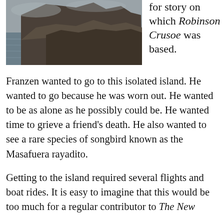[Figure (photo): A coastal cliff island scene with rocky cliffs and ocean water in the foreground, grey overcast sky.]
for story on which Robinson Crusoe was based.
Franzen wanted to go to this isolated island. He wanted to go because he was worn out. He wanted to be as alone as he possibly could be. He wanted time to grieve a friend's death. He also wanted to see a rare species of songbird known as the Masafuera rayadito.
Getting to the island required several flights and boat rides. It is easy to imagine that this would be too much for a regular contributor to The New